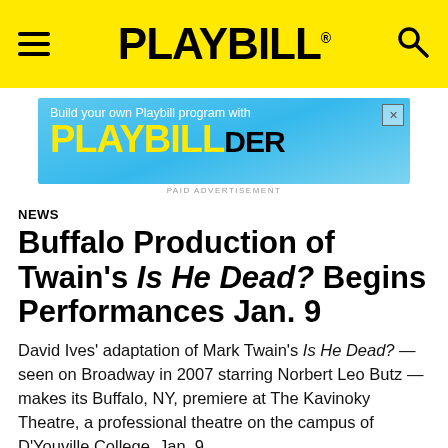PLAYBILL
[Figure (screenshot): Playbill advertisement banner: 'Build your own Playbill program with PLAYBILLder' on a blue background with yellow logo text]
NEWS
Buffalo Production of Twain's Is He Dead? Begins Performances Jan. 9
David Ives' adaptation of Mark Twain's Is He Dead? — seen on Broadway in 2007 starring Norbert Leo Butz — makes its Buffalo, NY, premiere at The Kavinoky Theatre, a professional theatre on the campus of D'Youville College, Jan. 9.